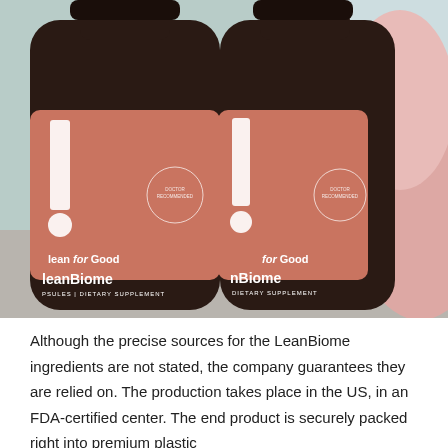[Figure (photo): Two dark amber supplement bottles with salmon/terracotta colored labels reading 'lean for Good LeanBiome DIETARY SUPPLEMENT' with a white 'l.' logo, placed on a light gray surface with a pink fabric visible in the background right.]
Although the precise sources for the LeanBiome ingredients are not stated, the company guarantees they are relied on. The production takes place in the US, in an FDA-certified center. The end product is securely packed right into premium plastic